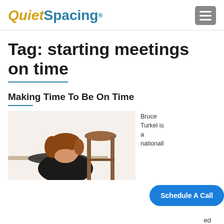QuietSpacing®
Tag: starting meetings on time
Making Time To Be On Time
[Figure (photo): A woman with reddish hair resting her head on her arms on a table, looking bored or tired. A wooden stool is visible in the background. White background.]
Bruce Turkel is a nationall... ed